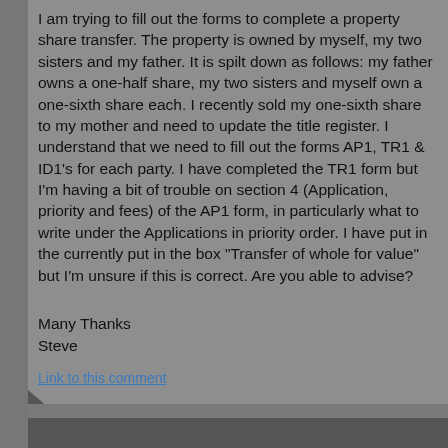I am trying to fill out the forms to complete a property share transfer. The property is owned by myself, my two sisters and my father. It is spilt down as follows: my father owns a one-half share, my two sisters and myself own a one-sixth share each. I recently sold my one-sixth share to my mother and need to update the title register. I understand that we need to fill out the forms AP1, TR1 & ID1's for each party. I have completed the TR1 form but I'm having a bit of trouble on section 4 (Application, priority and fees) of the AP1 form, in particularly what to write under the Applications in priority order. I have put in the currently put in the box "Transfer of whole for value" but I'm unsure if this is correct. Are you able to advise?
Many Thanks
Steve
Link to this comment
AdamH on 05 August 2020
eveH - just refer to it as a Transfer. If the Transfer is for